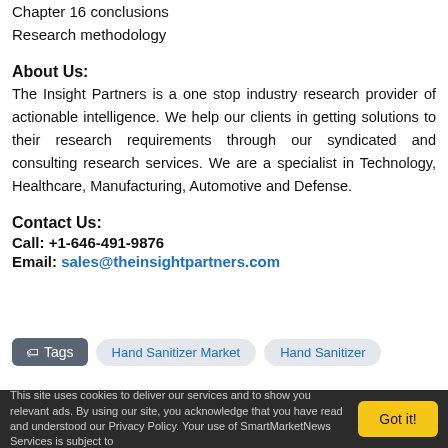Chapter 16 conclusions
Research methodology
About Us:
The Insight Partners is a one stop industry research provider of actionable intelligence. We help our clients in getting solutions to their research requirements through our syndicated and consulting research services. We are a specialist in Technology, Healthcare, Manufacturing, Automotive and Defense.
Contact Us:
Call: +1-646-491-9876
Email: sales@theinsightpartners.com
Tags  Hand Sanitizer Market  Hand Sanitizer
This site uses cookies to deliver our services and to show you relevant ads. By using our site, you acknowledge that you have read and understood our Privacy Policy. Your use of SmartMarketNews Services is subject to